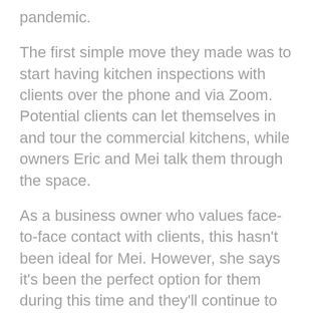pandemic.
The first simple move they made was to start having kitchen inspections with clients over the phone and via Zoom. Potential clients can let themselves in and tour the commercial kitchens, while owners Eric and Mei talk them through the space.
As a business owner who values face-to-face contact with clients, this hasn't been ideal for Mei. However, she says it's been the perfect option for them during this time and they'll continue to do it post-crisis if they need to.
When the meetings were sorted, Mei says they were still unsure what to do with the business and even considered totally repurposing their kitchens. “We’ve looked at using them as a place for the homeless,